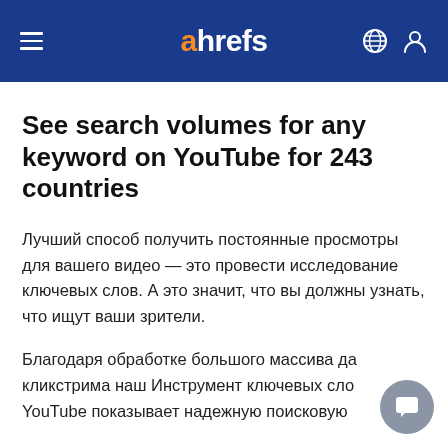ahrefs
See search volumes for any keyword on YouTube for 243 countries
Лучший способ получить постоянные просмотры для вашего видео — это провести исследование ключевых слов. А это значит, что вы должны узнать, что ищут ваши зрители.
Благодаря обработке большого массива данных кликстрима наш Инструмент ключевых слов YouTube показывает надежную поисковую